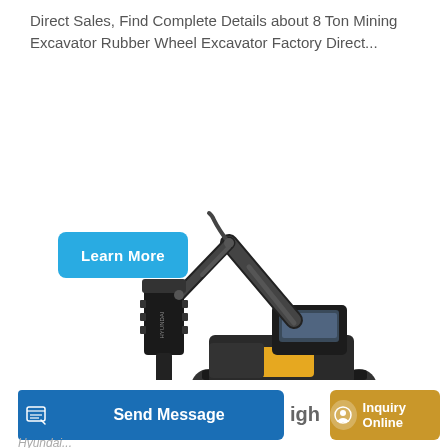Direct Sales, Find Complete Details about 8 Ton Mining Excavator Rubber Wheel Excavator Factory Direct...
[Figure (other): Blue rounded rectangle 'Learn More' button]
[Figure (photo): Hyundai tracked excavator with hydraulic breaker/hammer attachment, dark gray and yellow color scheme, on white background]
[Figure (other): Bottom navigation bar with 'Send Message' blue button on left and 'Inquiry Online' gold button on right, with partial text 'igh' visible in center]